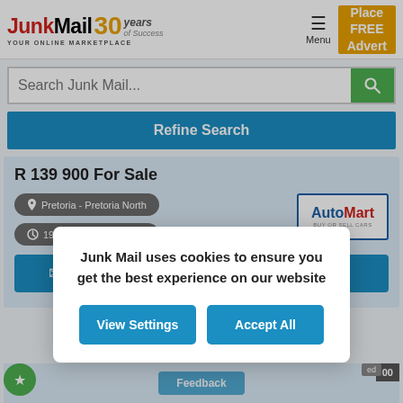[Figure (screenshot): JunkMail 30 years logo — YOUR ONLINE MARKETPLACE]
Place FREE Advert
Search Junk Mail...
Refine Search
R 139 900 For Sale
Pretoria - Pretoria North
192 minutes ago
[Figure (logo): AutoMart BUY OR SELL CARS logo]
Junk Mail uses cookies to ensure you get the best experience on our website
View Settings
Accept All